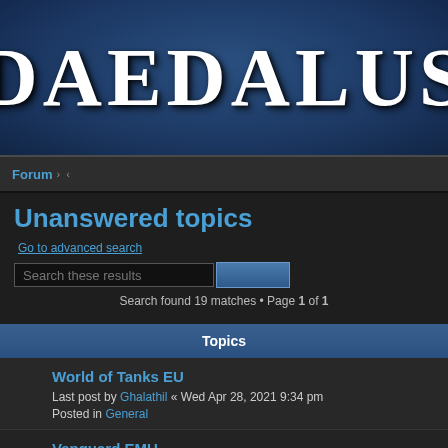[Figure (screenshot): Daedalus forum website header banner with large stylized white text 'DAEDALUS' on a dark blue textured background]
Forum › ›
Unanswered topics
Go to advanced search
Search these results [search button]
Search found 19 matches • Page 1 of 1
Topics
World of Tanks EU
Last post by Ghalathil « Wed Apr 28, 2021 9:34 pm
Posted in General
Vanguard EMU
Last post by Tomsk « Wed Jan 15, 2020 7:16 pm
Posted in General